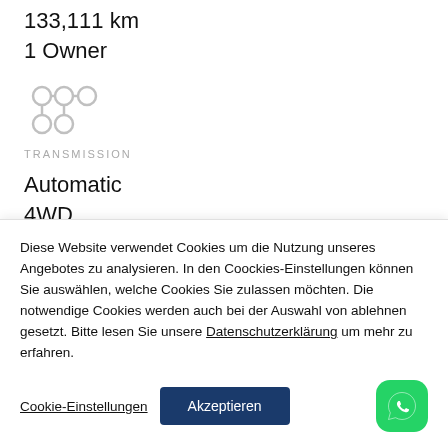133,111 km
1 Owner
[Figure (illustration): Transmission gear pattern icon in light grey showing 6-speed manual/automatic layout (circles connected by lines)]
TRANSMISSION
Automatic
4WD
Diese Website verwendet Cookies um die Nutzung unseres Angebotes zu analysieren. In den Coockies-Einstellungen können Sie auswählen, welche Cookies Sie zulassen möchten. Die notwendige Cookies werden auch bei der Auswahl von ablehnen gesetzt. Bitte lesen Sie unsere Datenschutzerklärung um mehr zu erfahren.
Cookie-Einstellungen
Akzeptieren